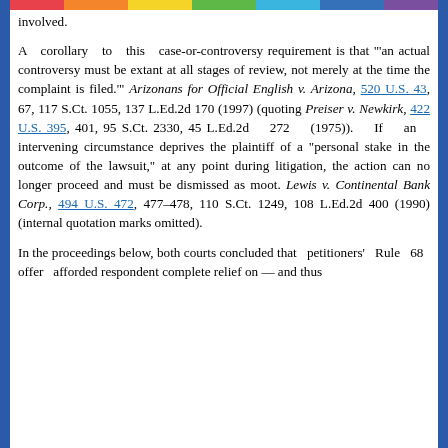involved.
A corollary to this case-or-controversy requirement is that "'an actual controversy must be extant at all stages of review, not merely at the time the complaint is filed.'" Arizonans for Official English v. Arizona, 520 U.S. 43, 67, 117 S.Ct. 1055, 137 L.Ed.2d 170 (1997) (quoting Preiser v. Newkirk, 422 U.S. 395, 401, 95 S.Ct. 2330, 45 L.Ed.2d 272 (1975)). If an intervening circumstance deprives the plaintiff of a "personal stake in the outcome of the lawsuit," at any point during litigation, the action can no longer proceed and must be dismissed as moot. Lewis v. Continental Bank Corp., 494 U.S. 472, 477-478, 110 S.Ct. 1249, 108 L.Ed.2d 400 (1990) (internal quotation marks omitted).
In the proceedings below, both courts concluded that petitioners' Rule 68 offer afforded respondent complete relief on — and thus superseded the Title I claim. See 2 F.Supp.3d...